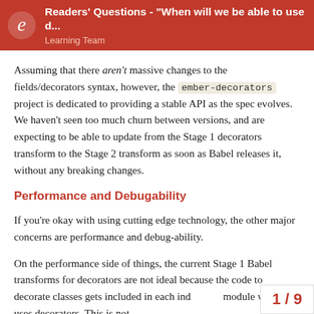Readers' Questions - "When will we be able to use d... | Learning Team
Assuming that there aren't massive changes to the fields/decorators syntax, however, the ember-decorators project is dedicated to providing a stable API as the spec evolves. We haven't seen too much churn between versions, and are expecting to be able to update from the Stage 1 decorators transform to the Stage 2 transform as soon as Babel releases it, without any breaking changes.
Performance and Debugability
If you're okay with using cutting edge technology, the other major concerns are performance and debug-ability.
On the performance side of things, the current Stage 1 Babel transforms for decorators are not ideal because the code to decorate classes gets included in each ind module which uses decorators. This is not
1 / 9